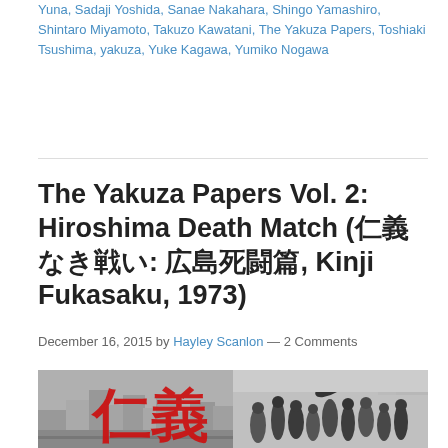Yuna, Sadaji Yoshida, Sanae Nakahara, Shingo Yamashiro, Shintaro Miyamoto, Takuzo Kawatani, The Yakuza Papers, Toshiaki Tsushima, yakuza, Yuke Kagawa, Yumiko Nogawa
The Yakuza Papers Vol. 2: Hiroshima Death Match (仁義なき戦い: 広島死闘篇, Kinji Fukasaku, 1973)
December 16, 2015 by Hayley Scanlon — 2 Comments
[Figure (photo): Movie poster/still composite for The Yakuza Papers Vol. 2: Hiroshima Death Match. Left half shows a red kanji character (仁義) over a grey aerial cityscape. Right half shows a black and white action scene with men fighting.]